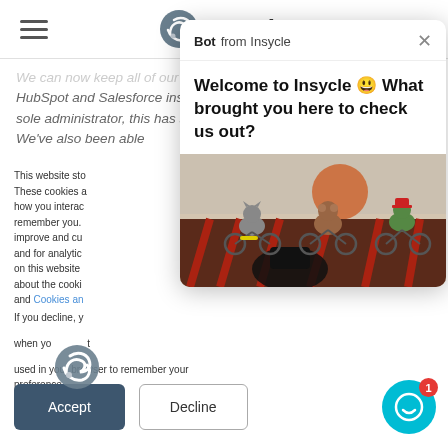Insycle
We can now keep all of our data neat and tidy in both our HubSpot and Salesforce instance from one platform. As the sole administrator, this has saved me hours and hours of time. We've also been able
This website stores cookies on your computer. These cookies are used to collect information about how you interact with our website and allow us to remember you. We use this information in order to improve and customize your browsing experience and for analytics and metrics about our visitors on this website and other media. To find out more about the cookies we use, see our Privacy Policy and Cookies and...
If you decline, your information won't be tracked when you visit this website. A single cookie will be used in your browser to remember your preference not to be tracked.
[Figure (screenshot): Chat bot popup from Insycle with welcome message 'Welcome to Insycle 😄 What brought you here to check us out?' and an animated illustration showing cartoon animals riding bicycles]
Accept
Decline